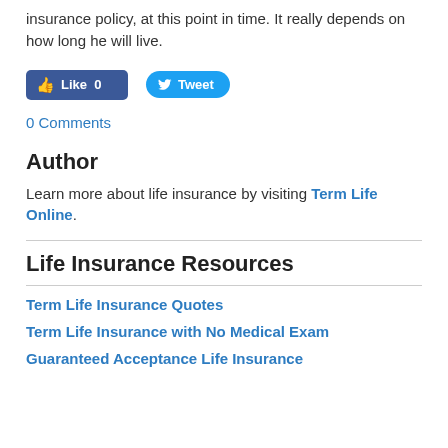insurance policy, at this point in time. It really depends on how long he will live.
[Figure (other): Facebook Like button (Like 0) and Twitter Tweet button]
0 Comments
Author
Learn more about life insurance by visiting Term Life Online.
Life Insurance Resources
Term Life Insurance Quotes
Term Life Insurance with No Medical Exam
Guaranteed Acceptance Life Insurance